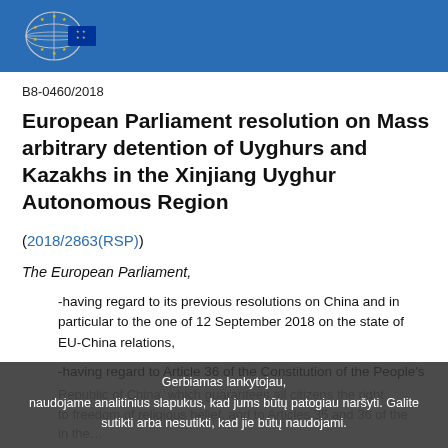European Parliament header with logo
B8-0460/2018
European Parliament resolution on Mass arbitrary detention of Uyghurs and Kazakhs in the Xinjiang Uyghur Autonomous Region
(2018/2863(RSP))
The European Parliament,
-having regard to its previous resolutions on China and in particular to the one of 12 September 2018 on the state of EU-China relations,
-having regard to Article 36 of the Constitution of the People's Republic of China, which guarantees all citizens the right to freedom of religious belief, and to Articles 35 and 36 of the...
Gerbiamas lankytojau, naudojame analitinius slapukus, kad jums būtų patogiau naršyti. Galite sutikti arba nesutikti, kad jie būtų naudojami.